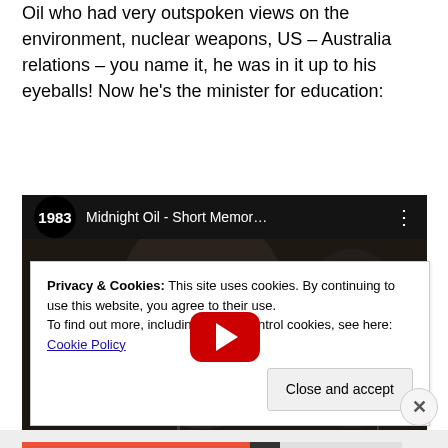Oil who had very outspoken views on the environment, nuclear weapons, US – Australia relations – you name it, he was in it up to his eyeballs! Now he's the minister for education:
[Figure (screenshot): YouTube video thumbnail showing '1983 Midnight Oil - Short Memor...' with a play button overlay. Shows a bald performer singing on stage and another musician in the background.]
Privacy & Cookies: This site uses cookies. By continuing to use this website, you agree to their use.
To find out more, including how to control cookies, see here: Cookie Policy